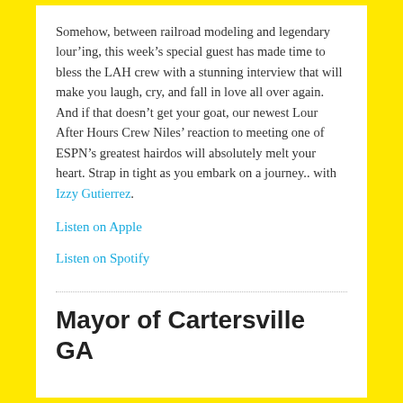Somehow, between railroad modeling and legendary lour'ing, this week's special guest has made time to bless the LAH crew with a stunning interview that will make you laugh, cry, and fall in love all over again. And if that doesn't get your goat, our newest Lour After Hours Crew Niles' reaction to meeting one of ESPN's greatest hairdos will absolutely melt your heart. Strap in tight as you embark on a journey.. with Izzy Gutierrez.
Listen on Apple
Listen on Spotify
Mayor of Cartersville GA